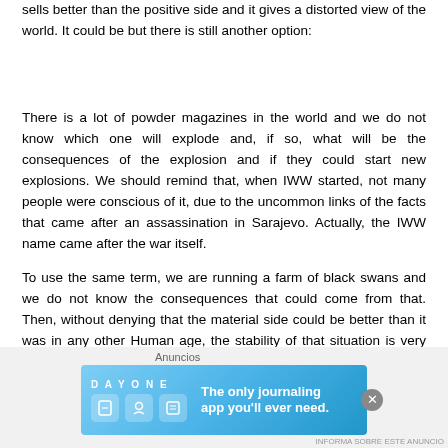sells better than the positive side and it gives a distorted view of the world. It could be but there is still another option:
There is a lot of powder magazines in the world and we do not know which one will explode and, if so, what will be the consequences of the explosion and if they could start new explosions. We should remind that, when IWW started, not many people were conscious of it, due to the uncommon links of the facts that came after an assassination in Sarajevo. Actually, the IWW name came after the war itself.
To use the same term, we are running a farm of black swans and we do not know the consequences that could come from that. Then, without denying that the material side could be better than it was in any other Human age, the stability of that situation is very questionable.
Peter Turchin warned about this instability and how we should expect a major change in the world as we know it. Turchin is prone to mathemati...
[Figure (other): Advertisement banner for Day One journaling app with text 'The only journaling app you'll ever need.' and a close button. Labeled 'Anuncios' above.]